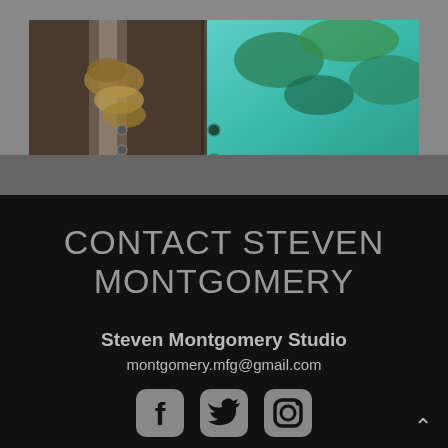[Figure (photo): Close-up photo of decorative metal artwork showing textured dark metallic surface on the left with organic/rustic detailing and turquoise/teal patinated panel on the right with rivets]
CONTACT STEVEN MONTGOMERY
Steven Montgomery Studio
montgomery.mfg@gmail.com
[Figure (infographic): Social media icons: Facebook, Twitter, Instagram]
Studio Address